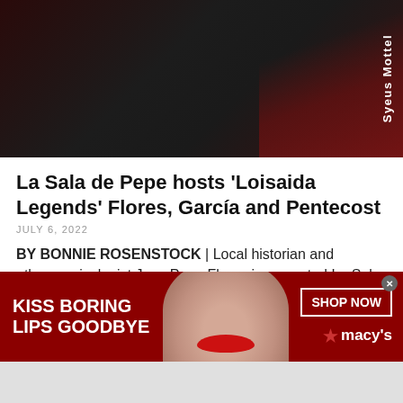[Figure (photo): Dark photograph, partially visible figure with dark and red tones, watermark text 'Syeus Mottel' rotated vertically on right side]
La Sala de Pepe hosts ‘Loisaida Legends’ Flores, García and Pentecost
JULY 6, 2022
BY BONNIE ROSENSTOCK | Local historian and ethnomusicologist Jose Pepe Flores inaugurated La Sala de Pepe (Pepe’s Living Room) and Foto Espacio (Photo Space) in
[Figure (photo): Macy's advertisement banner with dark red background. Left text: KISS BORING LIPS GOODBYE. Center: close-up of woman's face with red lips. Right: SHOP NOW button and Macy's star logo.]